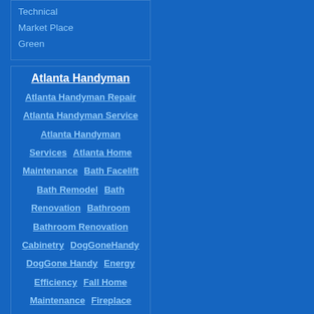Technical
Market Place
Green
Atlanta Handyman
Atlanta Handyman Repair Atlanta Handyman Service Atlanta Handyman Services Atlanta Home Maintenance Bath Facelift Bath Remodel Bath Renovation Bathroom Bathroom Renovation Cabinetry DogGoneHandy DogGone Handy Energy Efficiency Fall Home Maintenance Fireplace Maintenance Gutter Cleaning Gutter Maintenance Handyman Handyman Services H...